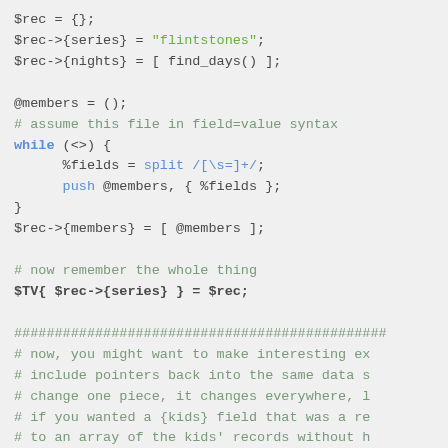[Figure (screenshot): Perl code snippet showing hash/array reference construction and a while loop with split and push, followed by comment block about pointers and data structures.]